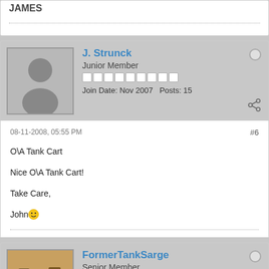JAMES
J. Strunck
Junior Member
Join Date: Nov 2007  Posts: 15
08-11-2008, 05:55 PM
#6
O\A Tank Cart
Nice O\A Tank Cart!
Take Care,
John
FormerTankSarge
Senior Member
Join Date: Jun 2008  Posts: 114